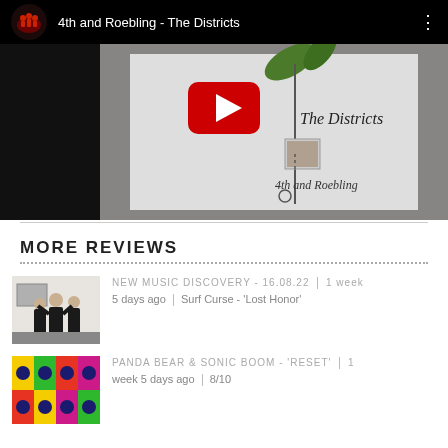[Figure (screenshot): YouTube video embed showing '4th and Roebling - The Districts' with play button overlay and album artwork thumbnail]
MORE REVIEWS
[Figure (photo): Thumbnail of band in formal wear for 'NEW MUSIC DISCOVERY - 16.08.22' review]
NEW MUSIC DISCOVERY - 16.08.22 | 1 week 5 days ago | Surf Curse - 'Lost Honor'
[Figure (photo): Colorful polka dot album cover thumbnail for 'PANDA BEAR & SONIC BOOM - RESET' review]
PANDA BEAR & SONIC BOOM - 'RESET' | 1 week 5 days ago | 8/10